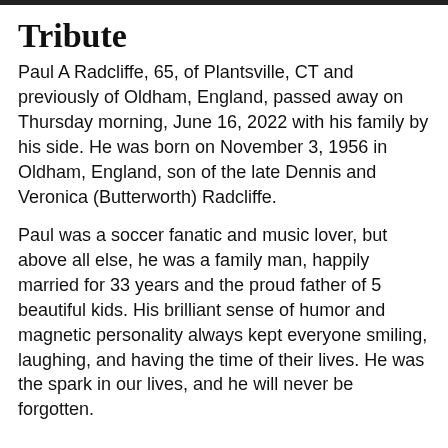Tribute
Paul A Radcliffe, 65, of Plantsville, CT and previously of Oldham, England, passed away on Thursday morning, June 16, 2022 with his family by his side. He was born on November 3, 1956 in Oldham, England, son of the late Dennis and Veronica (Butterworth) Radcliffe.
Paul was a soccer fanatic and music lover, but above all else, he was a family man, happily married for 33 years and the proud father of 5 beautiful kids. His brilliant sense of humor and magnetic personality always kept everyone smiling, laughing, and having the time of their lives. He was the spark in our lives, and he will never be forgotten.
Share a memory
Send Flowers
Plant a Tree